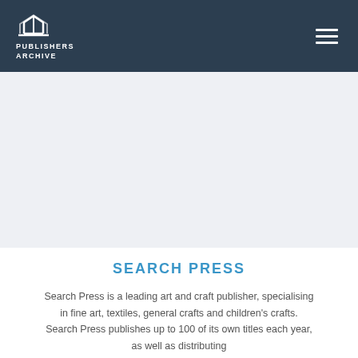[Figure (logo): Publishers Archive logo — white line-art open book icon above the text PUBLISHERS ARCHIVE in white capitals, set on a dark navy background header with a hamburger menu icon on the right]
SEARCH PRESS
Search Press is a leading art and craft publisher, specialising in fine art, textiles, general crafts and children's crafts. Search Press publishes up to 100 of its own titles each year, as well as distributing